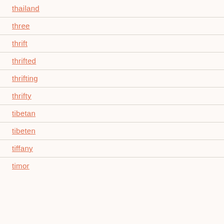thailand
three
thrift
thrifted
thrifting
thrifty
tibetan
tibeten
tiffany
timor